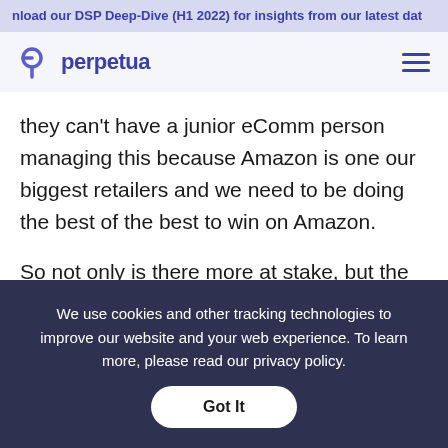nload our DSP Deep-Dive (H1 2022) for insights from our latest dat
[Figure (logo): Perpetua logo with stylized 'p' icon and wordmark in indigo/purple]
they can’t have a junior eComm person managing this because Amazon is one our biggest retailers and we need to be doing the best of the best to win on Amazon.
So not only is there more at stake, but the other thing that is interest to know about amazon ads
We use cookies and other tracking technologies to improve our website and your web experience. To learn more, please read our privacy policy.